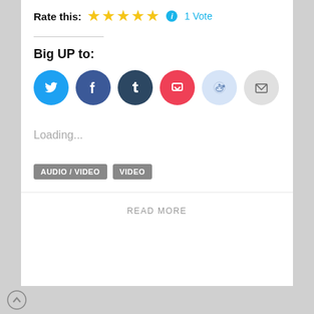Rate this: ★★★★★ ℹ 1 Vote
Big UP to:
[Figure (infographic): Six social share icon buttons in circles: Twitter (blue), Facebook (blue), Tumblr (dark blue), Pocket (red), Reddit (light blue), Email (gray)]
Loading...
AUDIO / VIDEO
VIDEO
READ MORE